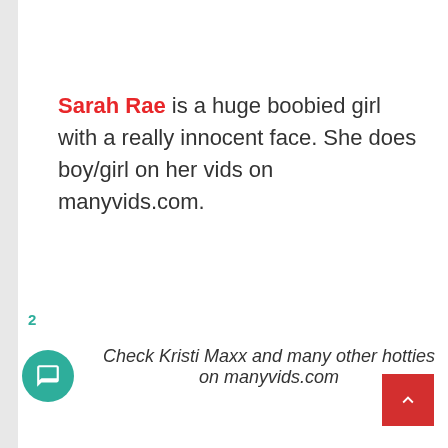Sarah Rae is a huge boobied girl with a really innocent face. She does boy/girl on her vids on manyvids.com.
Check Kristi Maxx and many other hotties on manyvids.com